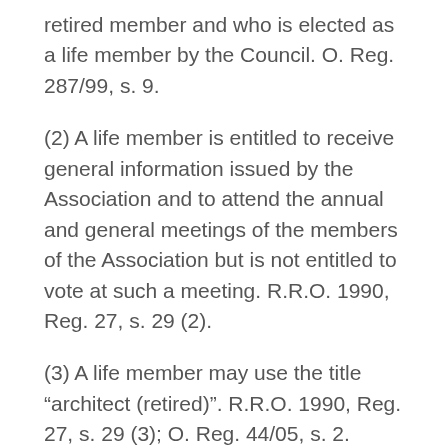retired member and who is elected as a life member by the Council. O. Reg. 287/99, s. 9.
(2) A life member is entitled to receive general information issued by the Association and to attend the annual and general meetings of the members of the Association but is not entitled to vote at such a meeting. R.R.O. 1990, Reg. 27, s. 29 (2).
(3) A life member may use the title “architect (retired)”. R.R.O. 1990, Reg. 27, s. 29 (3); O. Reg. 44/05, s. 2.
30. (1) Retired members are persons who have resigned their memberships in the Association,